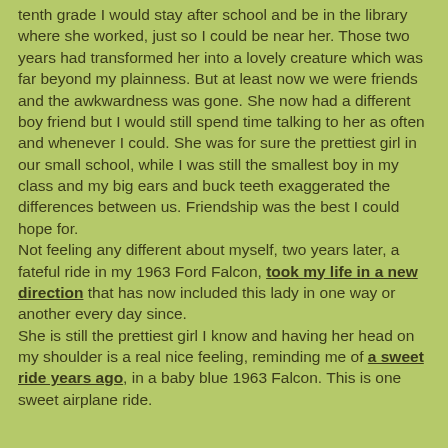tenth grade I would stay after school and be in the library where she worked, just so I could be near her. Those two years had transformed her into a lovely creature which was far beyond my plainness. But at least now we were friends and the awkwardness was gone. She now had a different boy friend but I would still spend time talking to her as often and whenever I could. She was for sure the prettiest girl in our small school, while I was still the smallest boy in my class and my big ears and buck teeth exaggerated the differences between us. Friendship was the best I could hope for.
Not feeling any different about myself, two years later, a fateful ride in my 1963 Ford Falcon, took my life in a new direction that has now included this lady in one way or another every day since.
She is still the prettiest girl I know and having her head on my shoulder is a real nice feeling, reminding me of a sweet ride years ago, in a baby blue 1963 Falcon. This is one sweet airplane ride.